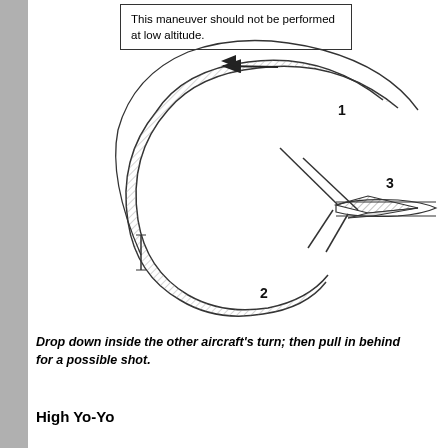This maneuver should not be performed at low altitude.
[Figure (illustration): Aerial combat maneuver diagram showing a curved looping flight path with three numbered positions. Position 1 is at the top of the loop, position 2 is at the bottom, and position 3 shows an aircraft (shaded diamond shape) at the right. Arrows indicate direction of travel along the curved shaded band representing the flight path.]
Drop down inside the other aircraft's turn; then pull in behind for a possible shot.
High Yo-Yo